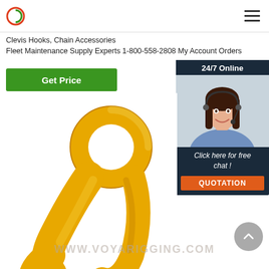Clevis Hooks, Chain Accessories Fleet Maintenance Supply Experts 1-800-558-2808 My Account Orders
Get Price
[Figure (photo): Customer service agent with headset, smiling, with 24/7 Online banner, 'Click here for free chat!' text, and orange QUOTATION button on dark background panel]
[Figure (photo): Close-up photo of a yellow clevis hook/chain accessory with circular eye hole against white background, watermarked WWW.VOYARIGGING.COM]